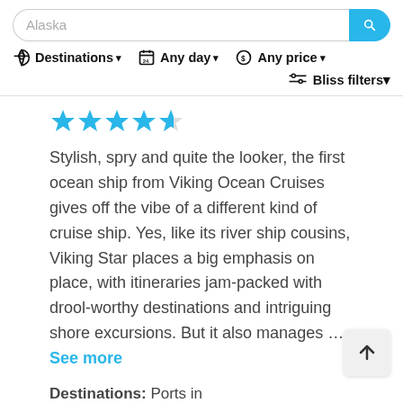[Figure (screenshot): Search bar with 'Alaska' placeholder text and a blue search button with magnifying glass icon]
Destinations ▾   Any day ▾   Any price ▾   Bliss filters ▾
[Figure (other): 4.5 out of 5 stars rating in blue]
Stylish, spry and quite the looker, the first ocean ship from Viking Ocean Cruises gives off the vibe of a different kind of cruise ship. Yes, like its river ship cousins, Viking Star places a big emphasis on place, with itineraries jam-packed with drool-worthy destinations and intriguing shore excursions. But it also manages … See more
Destinations: Ports in